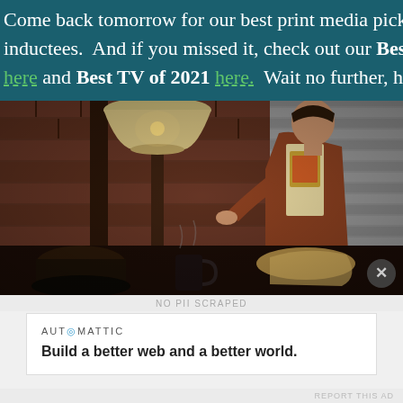Come back tomorrow for our best print media picks and our a... inductees.  And if you missed it, check out our Best Kick-Ass C... here and Best TV of 2021 here.  Wait no further, here are the b...
[Figure (photo): A man in a brown/rust-colored open jacket over a graphic t-shirt sits at a table with food. A large lamp with a round shade hangs nearby. Brick walls are visible in the background. The setting appears to be a restaurant or diner scene.]
No PII Scraped
AUTOMATTIC
Build a better web and a better world.
REPORT THIS AD